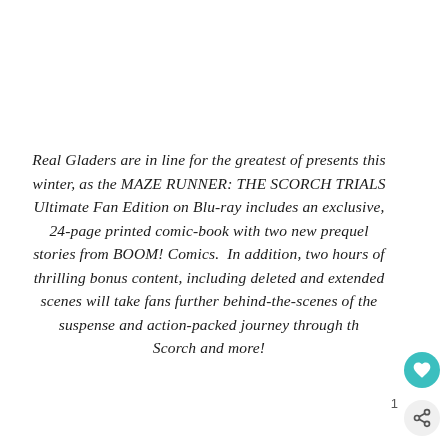Real Gladers are in line for the greatest of presents this winter, as the MAZE RUNNER: THE SCORCH TRIALS Ultimate Fan Edition on Blu-ray includes an exclusive, 24-page printed comic-book with two new prequel stories from BOOM! Comics.  In addition, two hours of thrilling bonus content, including deleted and extended scenes will take fans further behind-the-scenes of the suspense and action-packed journey through the Scorch and more!